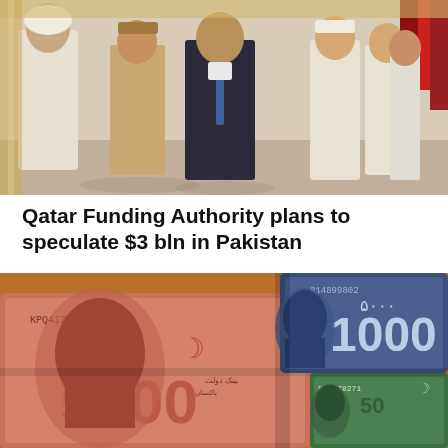[Figure (photo): Official ceremony photo showing dignitaries walking, including men in white traditional Gulf attire and a man in dark suit, with uniformed honor guard holding flags in background]
Qatar Funding Authority plans to speculate $3 bln in Pakistan
[Figure (photo): Close-up of Pakistani currency banknotes including 5000 rupee note (KPQ417246) and 1000 rupee note (FP2178271) showing portraits of Quaid-e-Azam Muhammad Ali Jinnah]